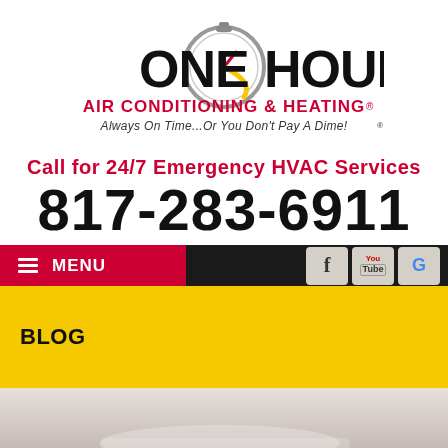[Figure (logo): One Hour Air Conditioning & Heating logo with stopwatch graphic. Text: ONE HOUR AIR CONDITIONING & HEATING® Always On Time...Or You Don't Pay A Dime!®]
Call for 24/7 Emergency HVAC Services
817-283-6911
≡ MENU
[Figure (logo): Facebook icon button]
[Figure (logo): YouTube icon button]
[Figure (logo): Google icon button]
BLOG
[Figure (photo): Blurred background photo, appears to show a light-colored interior/device surface]